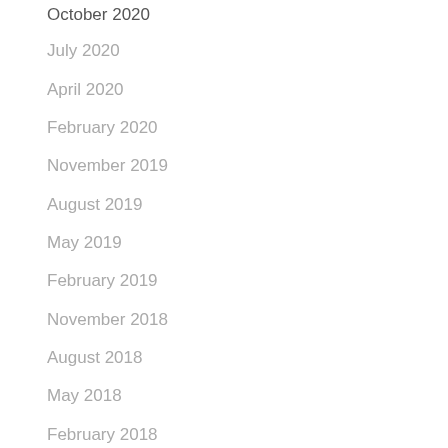October 2020
July 2020
April 2020
February 2020
November 2019
August 2019
May 2019
February 2019
November 2018
August 2018
May 2018
February 2018
November 2017